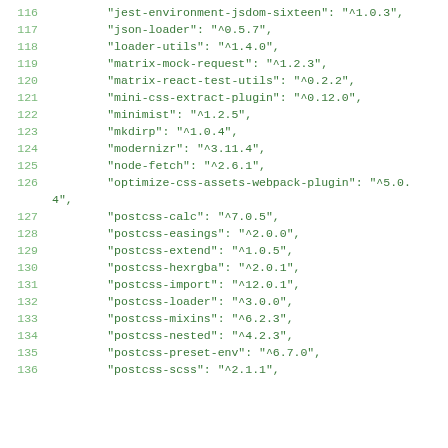Code snippet showing package.json devDependencies entries, lines 116-136
116    "jest-environment-jsdom-sixteen": "^1.0.3",
117    "json-loader": "^0.5.7",
118    "loader-utils": "^1.4.0",
119    "matrix-mock-request": "^1.2.3",
120    "matrix-react-test-utils": "^0.2.2",
121    "mini-css-extract-plugin": "^0.12.0",
122    "minimist": "^1.2.5",
123    "mkdirp": "^1.0.4",
124    "modernizr": "^3.11.4",
125    "node-fetch": "^2.6.1",
126    "optimize-css-assets-webpack-plugin": "^5.0.4",
127    "postcss-calc": "^7.0.5",
128    "postcss-easings": "^2.0.0",
129    "postcss-extend": "^1.0.5",
130    "postcss-hexrgba": "^2.0.1",
131    "postcss-import": "^12.0.1",
132    "postcss-loader": "^3.0.0",
133    "postcss-mixins": "^6.2.3",
134    "postcss-nested": "^4.2.3",
135    "postcss-preset-env": "^6.7.0",
136    "postcss-scss": "^2.1.1",